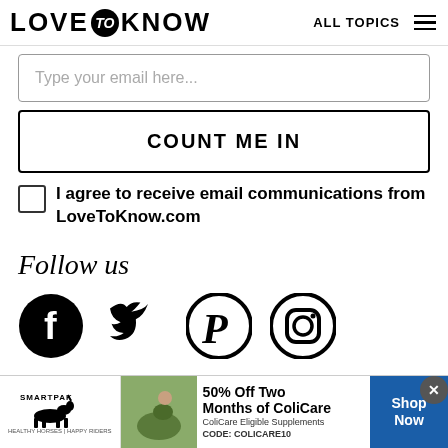LOVE to KNOW  ALL TOPICS
Type your email here...
COUNT ME IN
I agree to receive email communications from LoveToKnow.com
Follow us
[Figure (illustration): Social media icons: Facebook, Twitter, Pinterest, Instagram]
[Figure (infographic): SmartPak advertisement banner: 50% Off Two Months of ColiCare, ColiCare Eligible Supplements, CODE: COLICARE10, Shop Now button]